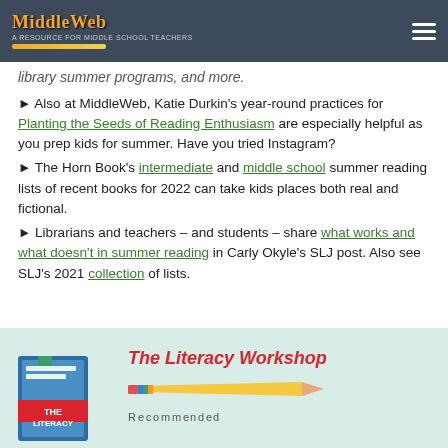MiddleWeb
library summer programs, and more.
► Also at MiddleWeb, Katie Durkin's year-round practices for Planting the Seeds of Reading Enthusiasm are especially helpful as you prep kids for summer. Have you tried Instagram?
► The Horn Book's intermediate and middle school summer reading lists of recent books for 2022 can take kids places both real and fictional.
► Librarians and teachers – and students – share what works and what doesn't in summer reading in Carly Okyle's SLJ post. Also see SLJ's 2021 collection of lists.
[Figure (illustration): Book cover illustration showing 'The Literacy' text on stacked books, alongside red italic title 'The Literacy Workshop' and a pencil graphic]